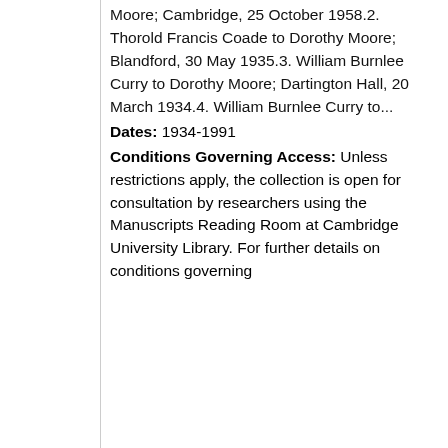Moore; Cambridge, 25 October 1958.2. Thorold Francis Coade to Dorothy Moore; Blandford, 30 May 1935.3. William Burnlee Curry to Dorothy Moore; Dartington Hall, 20 March 1934.4. William Burnlee Curry to...
Dates: 1934-1991
Conditions Governing Access: Unless restrictions apply, the collection is open for consultation by researchers using the Manuscripts Reading Room at Cambridge University Library. For further details on conditions governing